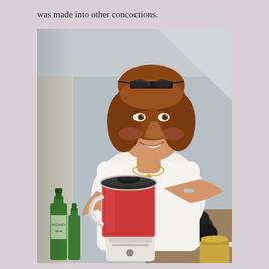was made into other concoctions.
[Figure (photo): A smiling middle-aged woman with short reddish-brown hair and sunglasses on her head, wearing a white t-shirt and a bracelet, pressing down on the lid of a blender filled with a red liquid. Green bottles are visible on the left side and a jar on the bottom right. The background shows a kitchen/room with light blue-grey walls.]